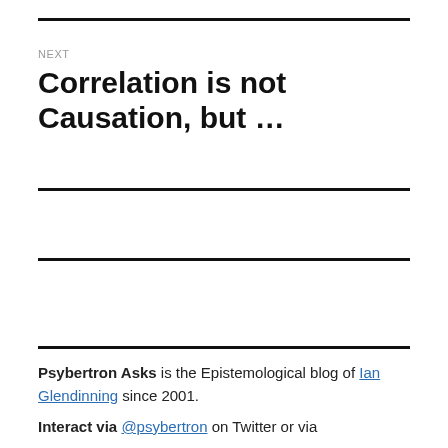NEXT
Correlation is not Causation, but …
Psybertron Asks is the Epistemological blog of Ian Glendinning since 2001.
Interact via @psybertron on Twitter or via